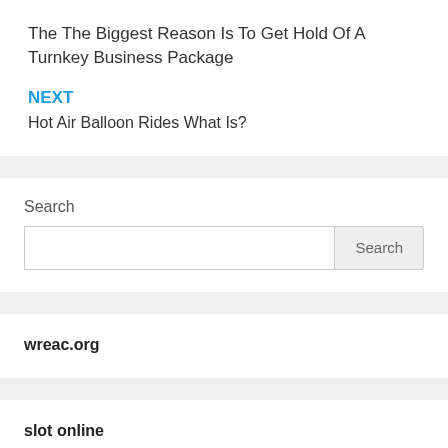The The Biggest Reason Is To Get Hold Of A Turnkey Business Package
NEXT
Hot Air Balloon Rides What Is?
Search
wreac.org
slot online